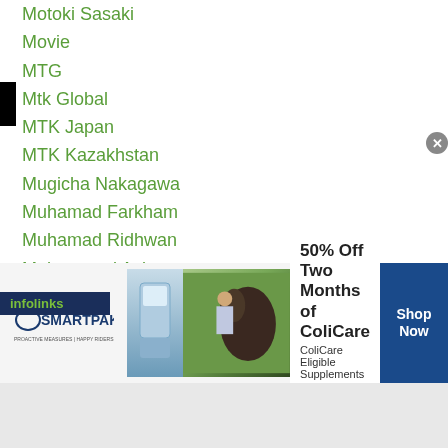Motoki Sasaki
Movie
MTG
Mtk Global
MTK Japan
MTK Kazakhstan
Mugicha Nakagawa
Muhamad Farkham
Muhamad Ridhwan
Muhammad Aslam
Muhammadkhuja Yaqubov
Muhammad Rachman
Muhammad Waseem
Murodjon Akhmadaliev
Murodjon Yokubov
Murojdon Akhmadaliev
Mori
[Figure (infographic): SmartPak advertisement banner: 50% Off Two Months of ColiCare, ColiCare Eligible Supplements, CODE: COLICARE10, Shop Now button]